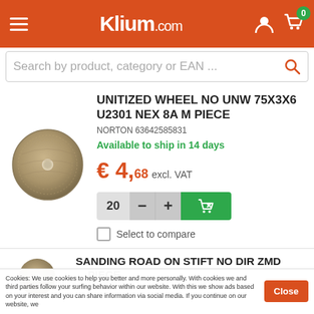Klium.com — navigation header with hamburger menu, logo, user icon, and cart icon (badge: 0)
Search by product, category or EAN ...
[Figure (photo): Circular abrasive unitized wheel disc, tan/beige color with center hole, front-facing view]
UNITIZED WHEEL NO UNW 75X3X6 U2301 NEX 8A M PIECE
NORTON 63642585831
Available to ship in 14 days
€ 4,68 excl. VAT
20 — + [add to cart button]
Select to compare
[Figure (photo): Circular abrasive wheel product image, partially visible at bottom of page]
SANDING ROAD ON STIFT NO DIR ZMD ... PIECE
Cookies: We use cookies to help you better and more personally. With cookies we and third parties follow your surfing behavior within our website. With this we show ads based on your interest and you can share information via social media. If you continue on our website, we